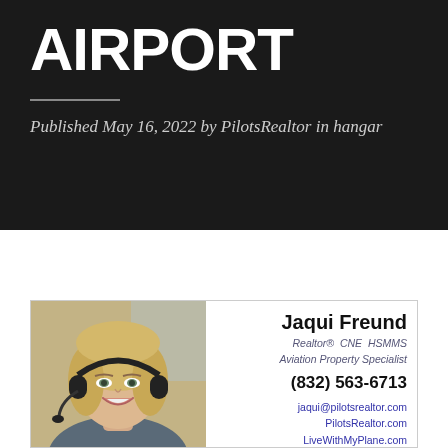AIRPORT
Published May 16, 2022 by PilotsRealtor in hangar
[Figure (photo): Business card with photo of Jaqui Freund wearing a pilot headset in a cockpit, smiling. Card shows: Jaqui Freund, Realtor® CNE HSMMS, Aviation Property Specialist, (832) 563-6713, jaqui@pilotsrealtor.com, PilotsRealtor.com, LiveWithMyPlane.com]